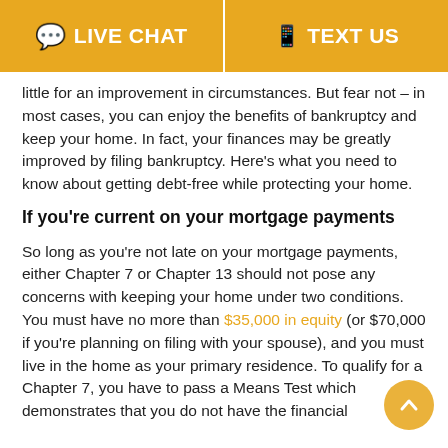LIVE CHAT   TEXT US
little for an improvement in circumstances. But fear not – in most cases, you can enjoy the benefits of bankruptcy and keep your home. In fact, your finances may be greatly improved by filing bankruptcy. Here's what you need to know about getting debt-free while protecting your home.
If you're current on your mortgage payments
So long as you're not late on your mortgage payments, either Chapter 7 or Chapter 13 should not pose any concerns with keeping your home under two conditions. You must have no more than $35,000 in equity (or $70,000 if you're planning on filing with your spouse), and you must live in the home as your primary residence. To qualify for a Chapter 7, you have to pass a Means Test which demonstrates that you do not have the financial